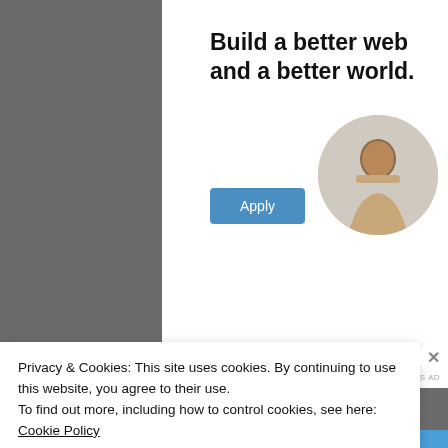[Figure (screenshot): Advertisement banner with text 'Build a better web and a better world.' and an Apply button, plus a circular photo of a person thinking at a desk]
Share this:
[Figure (screenshot): Twitter share button with Twitter bird icon]
[Figure (screenshot): Facebook share button with Facebook logo icon]
[Figure (screenshot): Like button with star icon and blogger avatar thumbnails]
7 bloggers like this.
Privacy & Cookies: This site uses cookies. By continuing to use this website, you agree to their use.
To find out more, including how to control cookies, see here: Cookie Policy
Close and accept